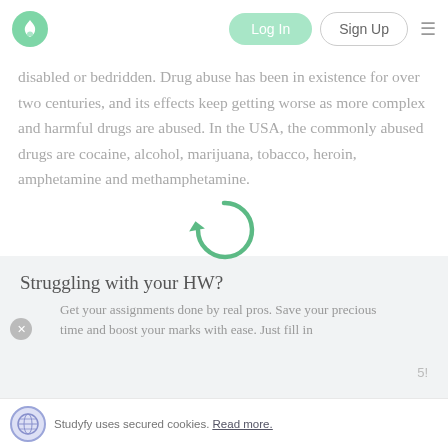Log In | Sign Up | [hamburger menu]
disabled or bedridden. Drug abuse has been in existence for over two centuries, and its effects keep getting worse as more complex and harmful drugs are abused. In the USA, the commonly abused drugs are cocaine, alcohol, marijuana, tobacco, heroin, amphetamine and methamphetamine.
[Figure (other): Green circular loading spinner icon centered over the text]
Struggling with your HW?
Get your assignments done by real pros. Save your precious time and boost your marks with ease. Just fill in
5!
Studyfy uses secured cookies. Read more.